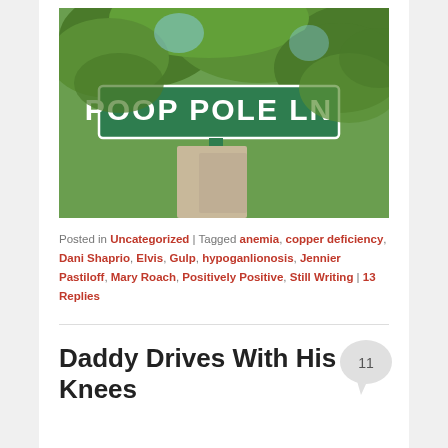[Figure (photo): Street sign reading 'POOP POLE LN' on a green metal pole surrounded by trees]
Posted in Uncategorized | Tagged anemia, copper deficiency, Dani Shaprio, Elvis, Gulp, hypoganlionosis, Jennier Pastiloff, Mary Roach, Positively Positive, Still Writing | 13 Replies
Daddy Drives With His Knees